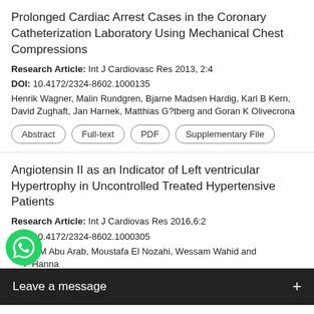Prolonged Cardiac Arrest Cases in the Coronary Catheterization Laboratory Using Mechanical Chest Compressions
Research Article: Int J Cardiovasc Res 2013, 2:4
DOI: 10.4172/2324-8602.1000135
Henrik Wagner, Malin Rundgren, Bjarne Madsen Hardig, Karl B Kern, David Zughaft, Jan Harnek, Matthias G?tberg and Goran K Olivecrona
Abstract
Full-text
PDF
Supplementary File
Angiotensin II as an Indicator of Left ventricular Hypertrophy in Uncontrolled Treated Hypertensive Patients
Research Article: Int J Cardiovas Res 2016,6:2
DOI: 10.4172/2324-8602.1000305
Tamer M Abu Arab, Moustafa El Nozahi, Wessam Wahid and F Hanna
Abstract
Full-text
PDF
Ca...